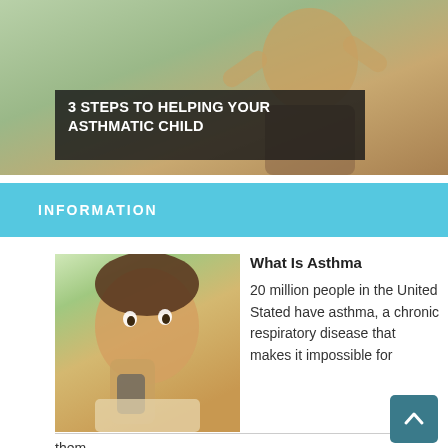[Figure (photo): Hero image of a child with arms raised outdoors, with dark overlay banner reading '3 STEPS TO HELPING YOUR ASTHMATIC CHILD']
3 STEPS TO HELPING YOUR ASTHMATIC CHILD
INFORMATION
[Figure (photo): Photo of a child using an asthma inhaler]
What Is Asthma
20 million people in the United Stated have asthma, a chronic respiratory disease that makes it impossible for them…
[Figure (photo): Photo of a person outdoors, partially visible]
Why Do You Have Asthma